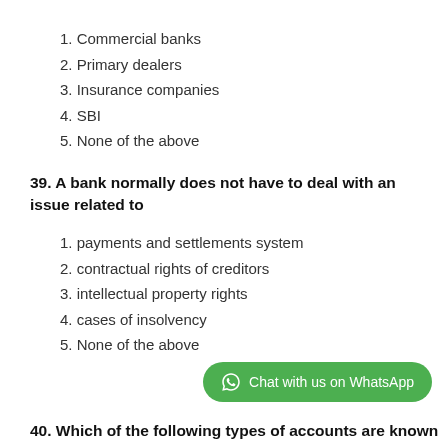1. Commercial banks
2. Primary dealers
3. Insurance companies
4. SBI
5. None of the above
39. A bank normally does not have to deal with an issue related to
1. payments and settlements system
2. contractual rights of creditors
3. intellectual property rights
4. cases of insolvency
5. None of the above
40. Which of the following types of accounts are known